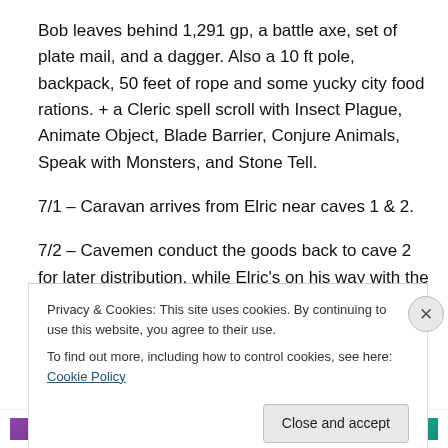Bob leaves behind 1,291 gp, a battle axe, set of plate mail, and a dagger. Also a 10 ft pole, backpack, 50 feet of rope and some yucky city food rations. + a Cleric spell scroll with Insect Plague, Animate Object, Blade Barrier, Conjure Animals, Speak with Monsters, and Stone Tell.
7/1 – Caravan arrives from Elric near caves 1 & 2.
7/2 – Cavemen conduct the goods back to cave 2 for later distribution, while Elric's on his way with the ivory.
Privacy & Cookies: This site uses cookies. By continuing to use this website, you agree to their use.
To find out more, including how to control cookies, see here: Cookie Policy
Close and accept